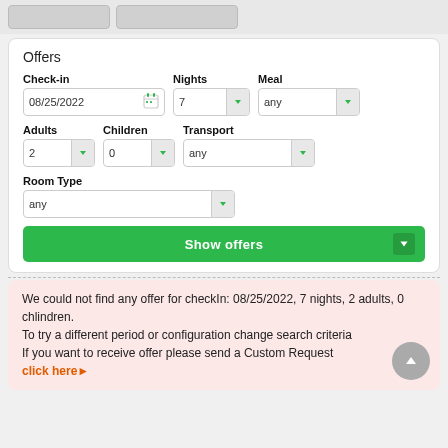Offers
Check-in    Nights    Meal
08/25/2022  7  any
Adults    Children    Transport
2  0  any
Room Type
any
Show offers
We could not find any offer for checkIn: 08/25/2022, 7 nights, 2 adults, 0 chlindren.
To try a different period or configuration change search criteria
If you want to receive offer please send a Custom Request
click here▶